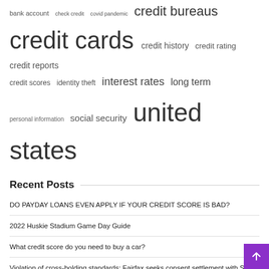[Figure (other): Tag cloud with finance/credit related terms in various font sizes: bank account, check credit, covid pandemic, credit bureaus (large), credit cards (very large), credit history, credit rating, credit reports, credit scores, identity theft, interest rates, long term, personal information, social security, united states (very large)]
Recent Posts
DO PAYDAY LOANS EVEN APPLY IF YOUR CREDIT SCORE IS BAD?
2022 Huskie Stadium Game Day Guide
What credit score do you need to buy a car?
Violation of cross-holding standards: Fairfax seeks consent settlement with Sebi
Reveals China's Current Information Warfare Strategy